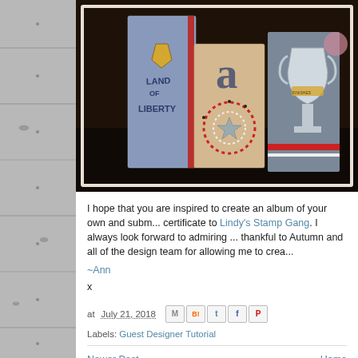[Figure (photo): Patriotic craft album decorations with 'Land of Liberty' text on decorated paper blocks/books, featuring red, white and blue elements including a star wreath, shield emblem, and a trophy, arranged on a dark surface.]
I hope that you are inspired to create an album of your own and subm... certificate to Lindy's Stamp Gang. I always look forward to admiring ... thankful to Autumn and all of the design team for allowing me to crea...
~Ann
x
at July 21, 2018
Labels: Guest Designer Tutorial
Newer Post
Home